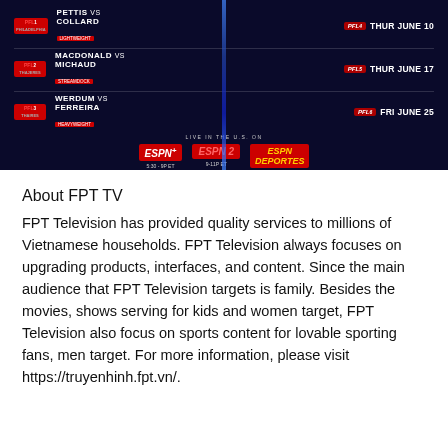[Figure (infographic): PFL MMA promotional graphic on dark navy background showing three fight matchups (Pettis vs Collard, MacDonald vs Michaud, Werdum vs Ferreira) with dates THUR JUNE 10, THUR JUNE 17, FRI JUNE 25, and broadcast information for ESPN+, ESPN 2, and ESPN Deportes.]
About FPT TV
FPT Television has provided quality services to millions of Vietnamese households. FPT Television always focuses on upgrading products, interfaces, and content. Since the main audience that FPT Television targets is family. Besides the movies, shows serving for kids and women target, FPT Television also focus on sports content for lovable sporting fans, men target. For more information, please visit https://truyenhinh.fpt.vn/.